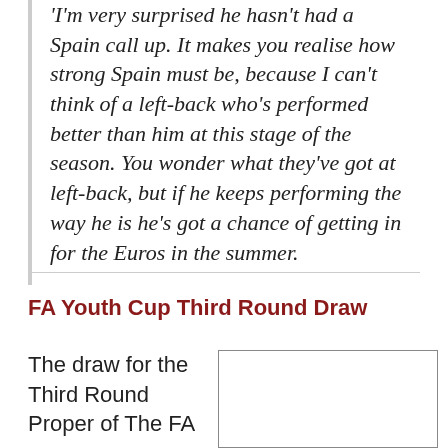'I'm very surprised he hasn't had a Spain call up. It makes you realise how strong Spain must be, because I can't think of a left-back who's performed better than him at this stage of the season. You wonder what they've got at left-back, but if he keeps performing the way he is he's got a chance of getting in for the Euros in the summer.
FA Youth Cup Third Round Draw
The draw for the Third Round Proper of The FA
[Figure (other): Image placeholder box for FA Youth Cup Third Round Draw]